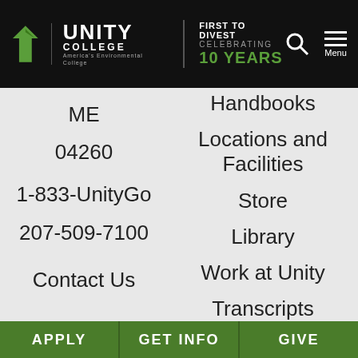[Figure (logo): Unity College logo with leaf icon, text 'UNITY COLLEGE America's Environmental College', 'FIRST TO DIVEST CELEBRATING 10 YEARS' in green, search icon, and Menu hamburger icon on black header bar]
ME
04260
1-833-UnityGo
207-509-7100
Contact Us
Handbooks
Locations and Facilities
Store
Library
Work at Unity
Transcripts
Environmental Career Guides
More About
APPLY   GET INFO   GIVE